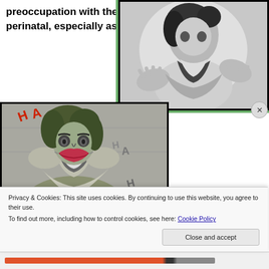preoccupation with the perinatal, especially as
[Figure (illustration): Black and white illustration showing a figure with outstretched hands, framed with green border]
[Figure (illustration): Digital illustration of the Joker character with green hair and face paint, with 'HA' text graffiti in background]
Privacy & Cookies: This site uses cookies. By continuing to use this website, you agree to their use.
To find out more, including how to control cookies, see here: Cookie Policy
Close and accept